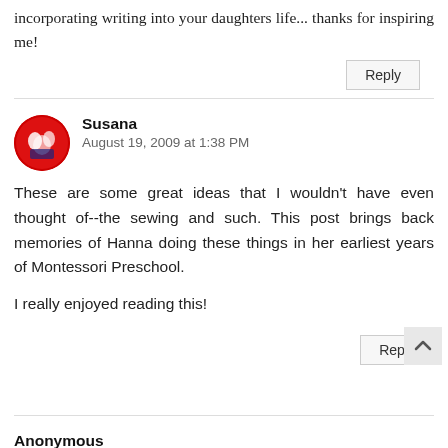incorporating writing into your daughters life... thanks for inspiring me!
Reply
Susana
August 19, 2009 at 1:38 PM
These are some great ideas that I wouldn't have even thought of--the sewing and such. This post brings back memories of Hanna doing these things in her earliest years of Montessori Preschool.
I really enjoyed reading this!
Reply
Anonymous
August 19, 2009 at 10:53 PM